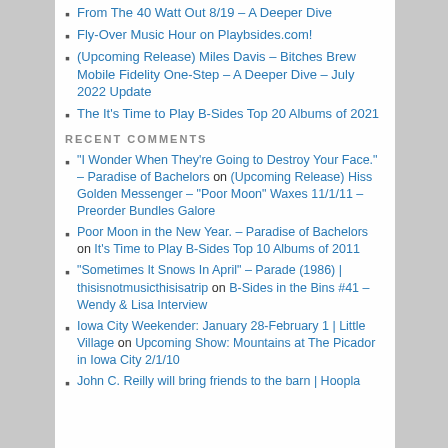From The 40 Watt Out 8/19 – A Deeper Dive
Fly-Over Music Hour on Playbsides.com!
(Upcoming Release) Miles Davis – Bitches Brew Mobile Fidelity One-Step – A Deeper Dive – July 2022 Update
The It's Time to Play B-Sides Top 20 Albums of 2021
RECENT COMMENTS
"I Wonder When They're Going to Destroy Your Face." – Paradise of Bachelors on (Upcoming Release) Hiss Golden Messenger – "Poor Moon" Waxes 11/1/11 – Preorder Bundles Galore
Poor Moon in the New Year. – Paradise of Bachelors on It's Time to Play B-Sides Top 10 Albums of 2011
"Sometimes It Snows In April" – Parade (1986) | thisisnotmusicthisisatrip on B-Sides in the Bins #41 – Wendy & Lisa Interview
Iowa City Weekender: January 28-February 1 | Little Village on Upcoming Show: Mountains at The Picador in Iowa City 2/1/10
John C. Reilly will bring friends to the barn | Hoopla